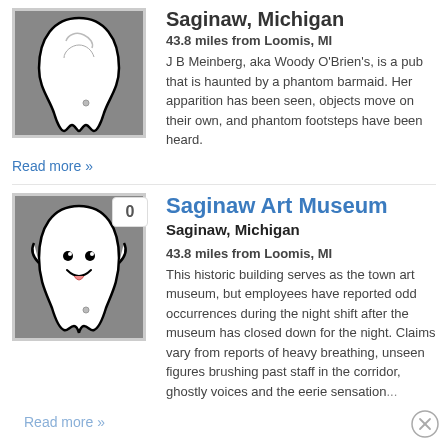[Figure (illustration): Ghost/haunted illustration with wavy white shape on grey background]
Saginaw, Michigan
43.8 miles from Loomis, MI
J B Meinberg, aka Woody O'Brien's, is a pub that is haunted by a phantom barmaid. Her apparition has been seen, objects move on their own, and phantom footsteps have been heard.
Read more »
[Figure (illustration): Friendly ghost cartoon illustration on grey background with badge showing 0]
Saginaw Art Museum
Saginaw, Michigan
43.8 miles from Loomis, MI
This historic building serves as the town art museum, but employees have reported odd occurrences during the night shift after the museum has closed down for the night. Claims vary from reports of heavy breathing, unseen figures brushing past staff in the corridor, ghostly voices and the eerie sensation...
Read more »